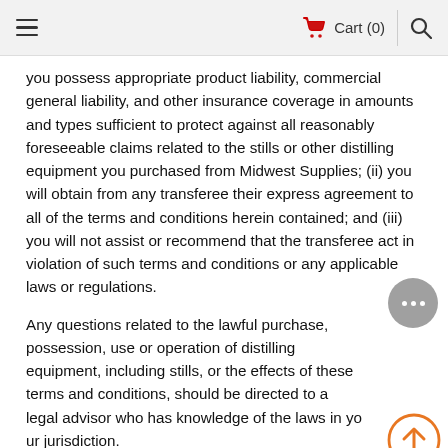Cart (0)
you possess appropriate product liability, commercial general liability, and other insurance coverage in amounts and types sufficient to protect against all reasonably foreseeable claims related to the stills or other distilling equipment you purchased from Midwest Supplies; (ii) you will obtain from any transferee their express agreement to all of the terms and conditions herein contained; and (iii) you will not assist or recommend that the transferee act in violation of such terms and conditions or any applicable laws or regulations.
Any questions related to the lawful purchase, possession, use or operation of distilling equipment, including stills, or the effects of these terms and conditions, should be directed to a legal advisor who has knowledge of the laws in your jurisdiction.